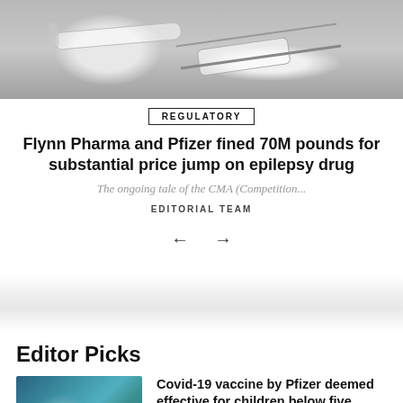[Figure (photo): Grayscale photo of syringes and vials on a surface]
REGULATORY
Flynn Pharma and Pfizer fined 70M pounds for substantial price jump on epilepsy drug
The ongoing tale of the CMA (Competition...
EDITORIAL TEAM
Editor Picks
[Figure (photo): Close-up photo of a medical vial and syringe with blue tones]
Covid-19 vaccine by Pfizer deemed effective for children below five